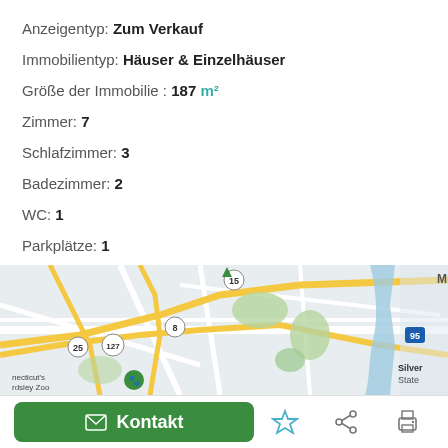Anzeigentyp: Zum Verkauf
Immobilientyp: Häuser & Einzelhäuser
Größe der Immobilie : 187 m²
Zimmer: 7
Schlafzimmer: 3
Badezimmer: 2
WC: 1
Parkplätze: 1
[Figure (map): Street map showing roads, green areas, water bodies, and landmarks including Connecticut's Beardsley Zoo, with highway markers 25, 127, 8, 15, 95, and Silver State label visible.]
Kontakt